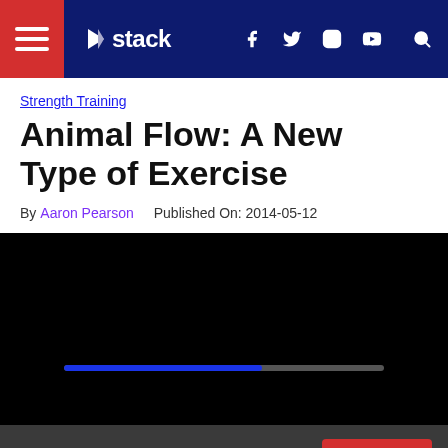stack — navigation bar with hamburger menu, logo, social icons (f, twitter, instagram, youtube), and search
Strength Training
Animal Flow: A New Type of Exercise
By Aaron Pearson   Published On: 2014-05-12
[Figure (screenshot): Black video player area with a loading/progress bar near the bottom center]
This website uses cookies and third party services.